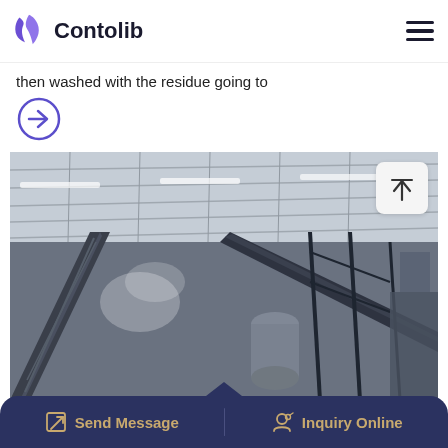Contolib
then washed with the residue going to
[Figure (other): Purple arrow-in-circle icon (navigation link)]
[Figure (photo): Industrial facility interior showing conveyor belts and steel structure under a large corrugated metal roof with fluorescent lighting]
Send Message | Inquiry Online